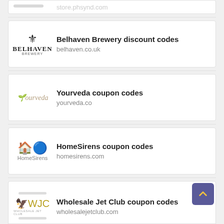Belhaven Brewery discount codes
belhaven.co.uk
Yourveda coupon codes
yourveda.co
HomeSirens coupon codes
homesirens.com
Wholesale Jet Club coupon codes
wholesalejetclub.com